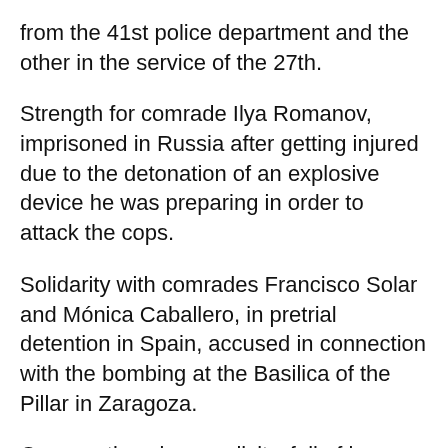from the 41st police department and the other in the service of the 27th.
Strength for comrade Ilya Romanov, imprisoned in Russia after getting injured due to the detonation of an explosive device he was preparing in order to attack the cops.
Solidarity with comrades Francisco Solar and Mónica Caballero, in pretrial detention in Spain, accused in connection with the bombing at the Basilica of the Pillar in Zaragoza.
Our greetings in complicity, full of love and anarchy, for comrades Alfredo Cospito and Nicola Gai, imprisoned in Italy and proud members of Olga Cell FAI/FRI.